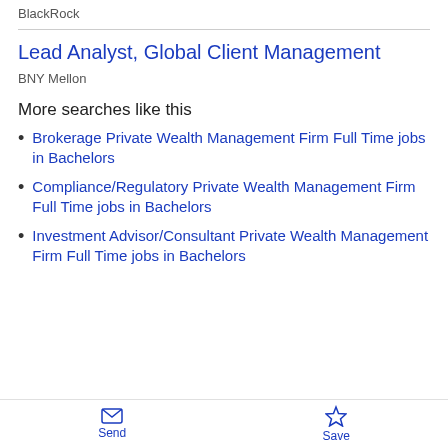BlackRock
Lead Analyst, Global Client Management
BNY Mellon
More searches like this
Brokerage Private Wealth Management Firm Full Time jobs in Bachelors
Compliance/Regulatory Private Wealth Management Firm Full Time jobs in Bachelors
Investment Advisor/Consultant Private Wealth Management Firm Full Time jobs in Bachelors
Send  Save